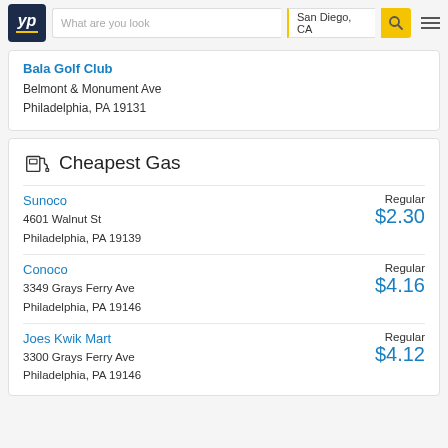YP | What are you looking for? | San Diego, CA
Bala Golf Club
Belmont & Monument Ave
Philadelphia, PA 19131
Cheapest Gas
Sunoco
4601 Walnut St
Philadelphia, PA 19139
Regular $2.30
Conoco
3349 Grays Ferry Ave
Philadelphia, PA 19146
Regular $4.16
Joes Kwik Mart
3300 Grays Ferry Ave
Philadelphia, PA 19146
Regular $4.12